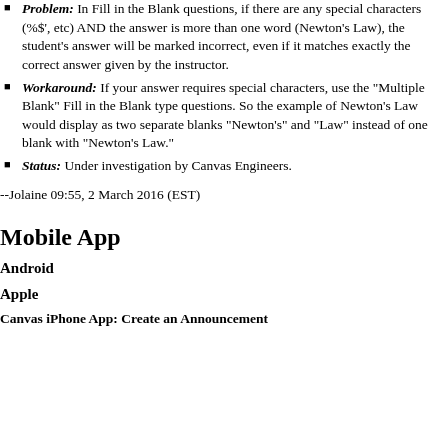Problem: In Fill in the Blank questions, if there are any special characters (%$', etc) AND the answer is more than one word (Newton's Law), the student's answer will be marked incorrect, even if it matches exactly the correct answer given by the instructor.
Workaround: If your answer requires special characters, use the "Multiple Blank" Fill in the Blank type questions. So the example of Newton's Law would display as two separate blanks "Newton's" and "Law" instead of one blank with "Newton's Law."
Status: Under investigation by Canvas Engineers.
--Jolaine 09:55, 2 March 2016 (EST)
Mobile App
Android
Apple
Canvas iPhone App: Create an Announcement